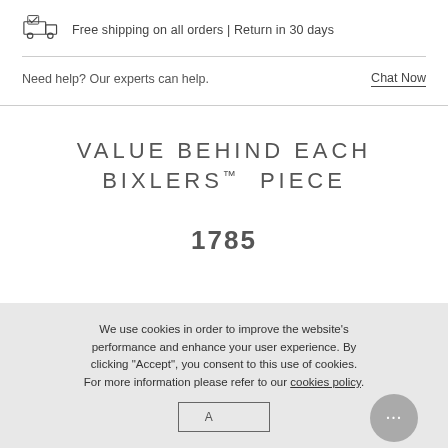[Figure (illustration): Truck/delivery icon with checkmark]
Free shipping on all orders | Return in 30 days
Need help? Our experts can help.
Chat Now
VALUE BEHIND EACH BIXLERS™ PIECE
1785
We use cookies in order to improve the website's performance and enhance your user experience. By clicking "Accept", you consent to this use of cookies. For more information please refer to our cookies policy.